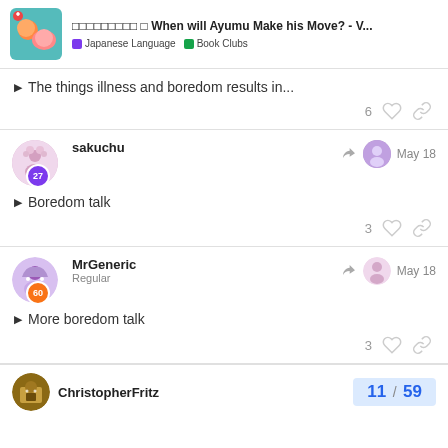□□□□□□□□□ □ When will Ayumu Make his Move? - V... | Japanese Language | Book Clubs
The things illness and boredom results in...
6 likes, link
sakuchu — May 18
Boredom talk
3 likes, link
MrGeneric Regular — May 18
More boredom talk
3 likes, link
ChristopherFritz
11 / 59